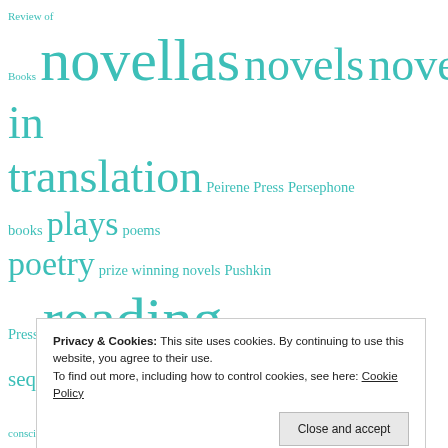[Figure (infographic): A tag cloud of literary topics in teal/turquoise color, varying font sizes indicating frequency: Review of Books, novellas, novels, novels in translation, Peirene Press, Persephone books, plays, poems, poetry, prize winning novels, Pushkin Press, reading, satire, sequels, short stories, Spanish language novels, stream of consciousness, summer, theatre, translated fiction, translated literature, twentieth century fiction, twentieth century literature, twentieth century novels, Virago, Virginia Woolf, Women in]
Privacy & Cookies: This site uses cookies. By continuing to use this website, you agree to their use.
To find out more, including how to control cookies, see here: Cookie Policy